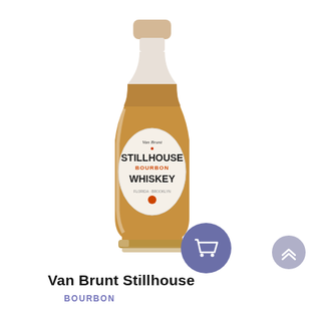[Figure (photo): A bottle of Van Brunt Stillhouse Bourbon Whiskey with a cream-colored label featuring bold black lettering 'STILLHOUSE BOURBON WHISKEY' and orange accent text, with a cork top and amber liquid visible through the glass.]
Van Brunt Stillhouse
BOURBON